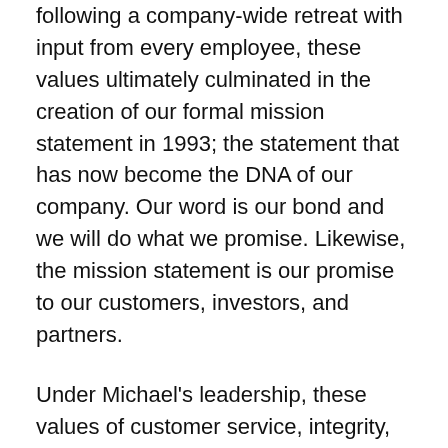following a company-wide retreat with input from every employee, these values ultimately culminated in the creation of our formal mission statement in 1993; the statement that has now become the DNA of our company. Our word is our bond and we will do what we promise. Likewise, the mission statement is our promise to our customers, investors, and partners.
Under Michael's leadership, these values of customer service, integrity, fairness, strong work ethic, and giving back have become ingrained within the company and its culture. At our core is the basic value to treat others as we would want to be treated. While our culture — and the related